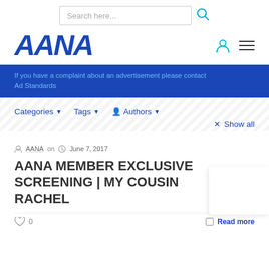[Figure (logo): AANA logo in bold italic blue text]
If you have a complaint about an advertisement please contact Ad Standards
Categories ▼   Tags ▼   Authors ▼   × Show all
AANA on  June 7, 2017
AANA MEMBER EXCLUSIVE SCREENING | MY COUSIN RACHEL